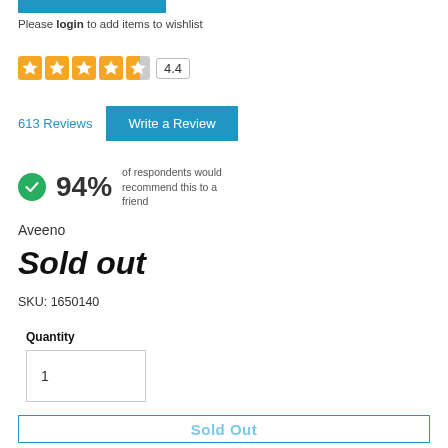[Figure (other): Blue horizontal bar (partial button or banner) at top]
Please login to add items to wishlist
[Figure (other): Star rating: 4 full orange stars and 1 half star, rating badge showing 4.4]
613 Reviews   Write a Review
94% of respondents would recommend this to a friend
Aveeno
Sold out
SKU: 1650140
Quantity
1
Sold Out